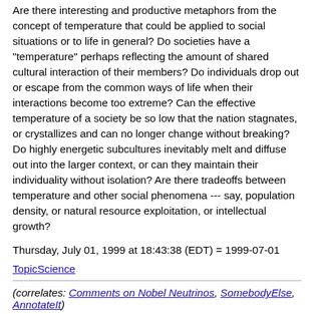Are there interesting and productive metaphors from the concept of temperature that could be applied to social situations or to life in general? Do societies have a "temperature" perhaps reflecting the amount of shared cultural interaction of their members? Do individuals drop out or escape from the common ways of life when their interactions become too extreme? Can the effective temperature of a society be so low that the nation stagnates, or crystallizes and can no longer change without breaking? Do highly energetic subcultures inevitably melt and diffuse out into the larger context, or can they maintain their individuality without isolation? Are there tradeoffs between temperature and other social phenomena --- say, population density, or natural resource exploitation, or intellectual growth?
Thursday, July 01, 1999 at 18:43:38 (EDT) = 1999-07-01
TopicScience
(correlates: Comments on Nobel Neutrinos, SomebodyElse, AnnotateIt...)